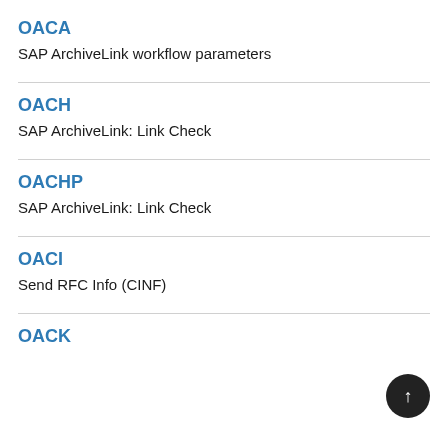OACA
SAP ArchiveLink workflow parameters
OACH
SAP ArchiveLink: Link Check
OACHP
SAP ArchiveLink: Link Check
OACI
Send RFC Info (CINF)
OACK